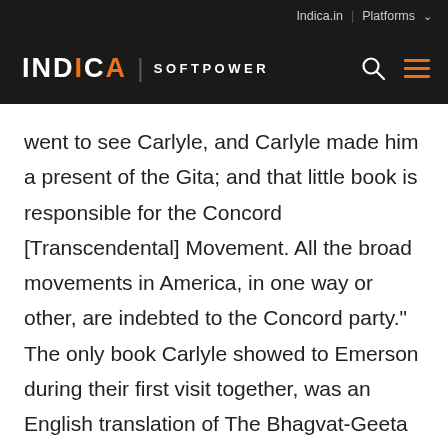Indica.in | Platforms
INDICA | SOFTPOWER
went to see Carlyle, and Carlyle made him a present of the Gita; and that little book is responsible for the Concord [Transcendental] Movement. All the broad movements in America, in one way or other, are indebted to the Concord party." The only book Carlyle showed to Emerson during their first visit together, was an English translation of The Bhagvat-Geeta by Charles Wilkins. He told Emerson, "This is a most inspiring